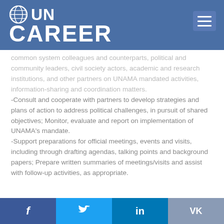UN CAREER
common system colleagues and counterparts, political and community leaders, civil society actors, academic and research institutions, and other partners on UNAMA mandated activities, information-sharing and coordination matters.
-Consult and cooperate with partners to develop strategies and plans of action to address political challenges, in pursuit of shared objectives; Monitor, evaluate and report on implementation of UNAMA's mandate.
-Support preparations for official meetings, events and visits, including through drafting agendas, talking points and background papers; Prepare written summaries of meetings/visits and assist with follow-up activities, as appropriate.
f  Twitter  in  VK